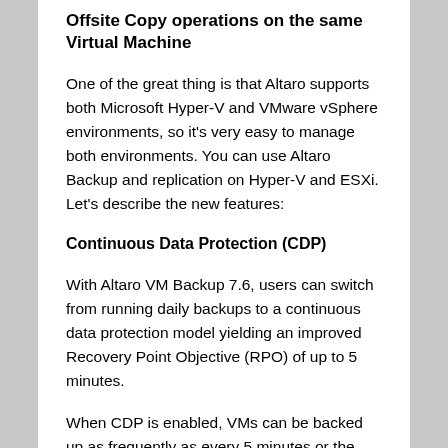Offsite Copy operations on the same Virtual Machine
One of the great thing is that Altaro supports both Microsoft Hyper-V and VMware vSphere environments, so it's very easy to manage both environments. You can use Altaro Backup and replication on Hyper-V and ESXi. Let's describe the new features:
Continuous Data Protection (CDP)
With Altaro VM Backup 7.6, users can switch from running daily backups to a continuous data protection model yielding an improved Recovery Point Objective (RPO) of up to 5 minutes.
When CDP is enabled, VMs can be backed up as frequently as every 5 minutes or the maximum frequency permitted by the backup location and environment. This means that the data loss in case of